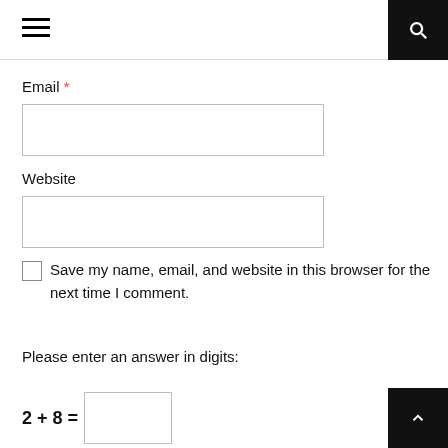Navigation header with hamburger menu and search button
Email *
[Figure (other): Empty text input field for Email]
Website
[Figure (other): Empty text input field for Website]
Save my name, email, and website in this browser for the next time I comment.
Please enter an answer in digits:
[Figure (other): Empty text input field for math answer]